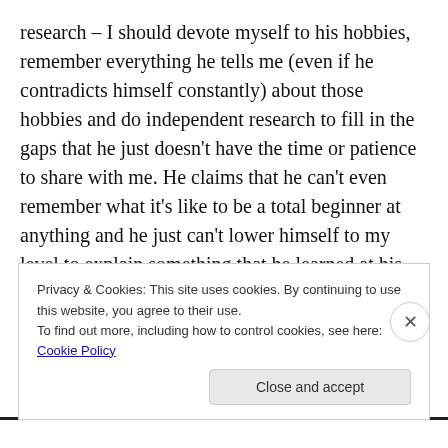research – I should devote myself to his hobbies, remember everything he tells me (even if he contradicts himself constantly) about those hobbies and do independent research to fill in the gaps that he just doesn't have the time or patience to share with me. He claims that he can't even remember what it's like to be a total beginner at anything and he just can't lower himself to my level to explain something that he learned at his Grandfather's knee. Nor should he have to – it is my responsibility to research and learn everything I can on my own so his precious time is never wasted.
Privacy & Cookies: This site uses cookies. By continuing to use this website, you agree to their use.
To find out more, including how to control cookies, see here: Cookie Policy